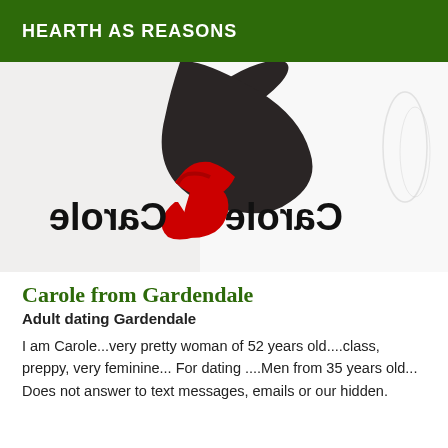HEARTH AS REASONS
[Figure (photo): A woman's leg wearing dark stockings and red high-heel shoes, with a mirrored/reflected text 'Carole' visible in the lower right portion of the image on a white background.]
Carole from Gardendale
Adult dating Gardendale
I am Carole...very pretty woman of 52 years old....class, preppy, very feminine... For dating ....Men from 35 years old... Does not answer to text messages, emails or our hidden.